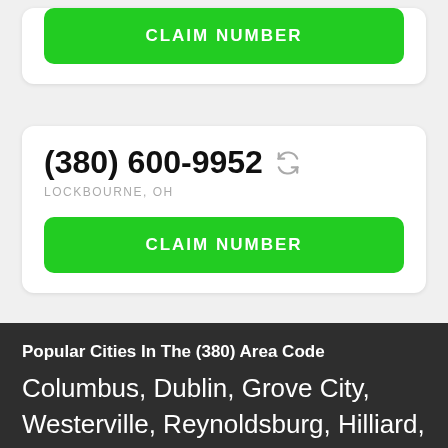CLAIM NUMBER
(380) 600-9952
LOCKBOURNE, OH
CLAIM NUMBER
Popular Cities In The (380) Area Code
Columbus, Dublin, Grove City, Westerville, Reynoldsburg, Hilliard, Upper Arlington, Gahanna, Marysville, Pickerington, Whitehall, Worthington, Bexley, Powell & New